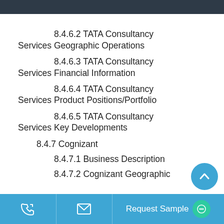8.4.6.2 TATA Consultancy Services Geographic Operations
8.4.6.3 TATA Consultancy Services Financial Information
8.4.6.4 TATA Consultancy Services Product Positions/Portfolio
8.4.6.5 TATA Consultancy Services Key Developments
8.4.7 Cognizant
8.4.7.1 Business Description
8.4.7.2 Cognizant Geographic
Request Sample